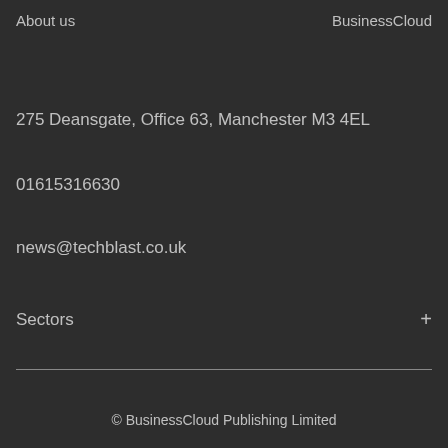About us    BusinessCloud
275 Deansgate, Office 63, Manchester M3 4EL
01615316630
news@techblast.co.uk
Sectors +
© BusinessCloud Publishing Limited